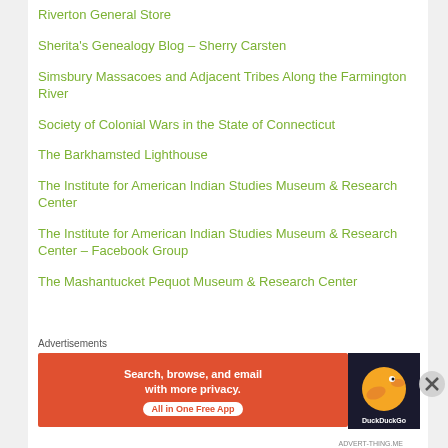Riverton General Store
Sherita's Genealogy Blog – Sherry Carsten
Simsbury Massacoes and Adjacent Tribes Along the Farmington River
Society of Colonial Wars in the State of Connecticut
The Barkhamsted Lighthouse
The Institute for American Indian Studies Museum & Research Center
The Institute for American Indian Studies Museum & Research Center – Facebook Group
The Mashantucket Pequot Museum & Research Center
Advertisements
[Figure (screenshot): DuckDuckGo advertisement banner: Search, browse, and email with more privacy. All in One Free App. DuckDuckGo logo on dark background.]